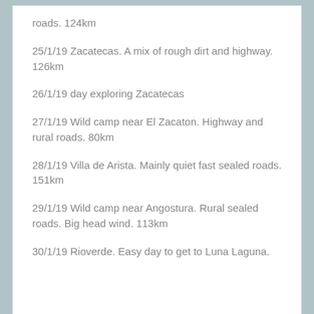roads. 124km
25/1/19 Zacatecas. A mix of rough dirt and highway. 126km
26/1/19 day exploring Zacatecas
27/1/19 Wild camp near El Zacaton. Highway and rural roads. 80km
28/1/19 Villa de Arista. Mainly quiet fast sealed roads. 151km
29/1/19 Wild camp near Angostura. Rural sealed roads. Big head wind. 113km
30/1/19 Rioverde. Easy day to get to Luna Laguna.